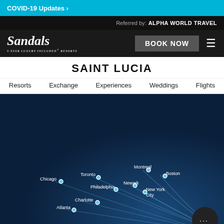COVID-19 Updates >
Referred by: ALPHA WORLD TRAVEL
[Figure (screenshot): Sandals logo with tagline '5-STAR LUXURY INCLUDED® RESORTS']
BOOK NOW
SAINT LUCIA
Resorts
Exchange
Experiences
Weddings
Flights
[Figure (map): Dark blue map showing flight routes from US/Canadian cities (Chicago, Toronto, Philadelphia, Newark, New York City, Montreal, Boston, Charlotte, Atlanta) to Saint Lucia with curved lines and city dot markers]